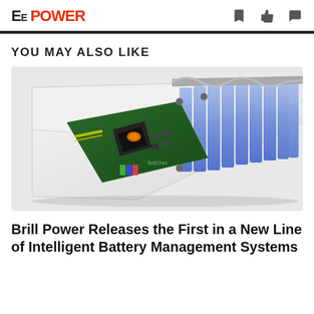EE POWER
YOU MAY ALSO LIKE
[Figure (photo): 3D rendering of an intelligent battery management system — a green PCB circuit board with components visible, embedded inside a battery pack containing multiple blue cylindrical cells arranged side by side, shown in a cutaway white enclosure.]
Brill Power Releases the First in a New Line of Intelligent Battery Management Systems